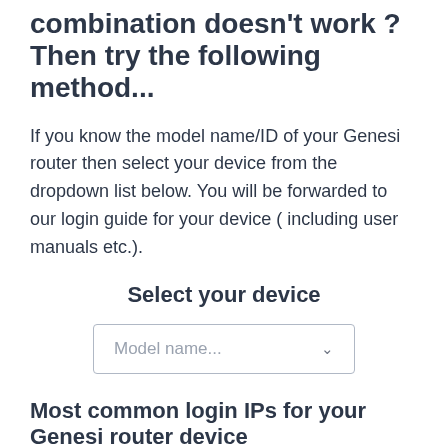combination doesn't work ? Then try the following method...
If you know the model name/ID of your Genesi router then select your device from the dropdown list below. You will be forwarded to our login guide for your device ( including user manuals etc.).
Select your device
[Figure (other): Dropdown select box with placeholder text 'Model name...' and a chevron arrow on the right]
Most common login IPs for your Genesi router device
For example, if you want to change the security settings of your Genesi router, you need the